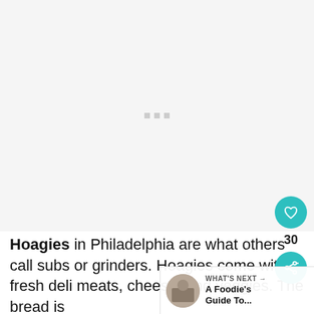[Figure (photo): Large image placeholder area with loading dots indicator, light grey background]
Hoagies in Philadelphia are what other call subs or grinders. Hoagies come with fresh deli meats, cheese, and veggies. The bread is
[Figure (other): WHAT'S NEXT → A Foodie's Guide To... banner with circular thumbnail image]